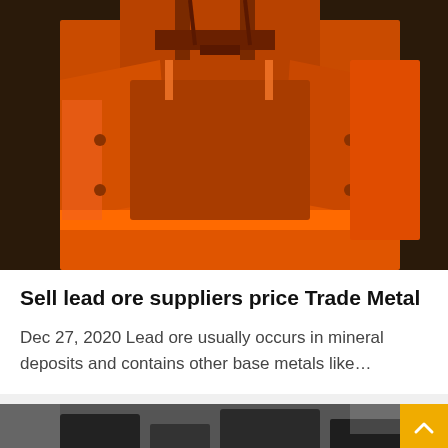[Figure (photo): Orange industrial sand washing machine or ore processing equipment, photographed close up against a dark background.]
Sell lead ore suppliers price Trade Metal
Dec 27, 2020 Lead ore usually occurs in mineral deposits and contains other base metals like…
[Figure (photo): Partial view of dark industrial machinery, bottom of page.]
Leave Message
[Figure (photo): Customer service representative avatar with headset, circular purple-bordered image.]
Chat Online